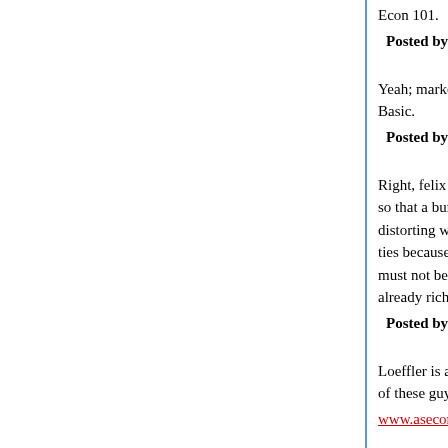Econ 101.
Posted by: jdog | May 18, 2008 at 04:28 PM
Yeah; markets work best for marketers under free... Basic.
Posted by: felix culpa | May 18, 2008 at 04:35 PM
Right, felix culpa. As nearly as I can figure, their ta... so that a bunch of people with a shared interest c... distorting when they don't have buddies in the cap... ties because you're part of the privileged sector is... must not be restrained. Helping the rich get richer... already rich get any richer is unnatural.
Posted by: Bruce Baugh | May 18, 2008 at 10:18 PM
Loeffler is a real traitor to the Republic. Accepting... of these guys:
www.asecondlookatthesaudis.com